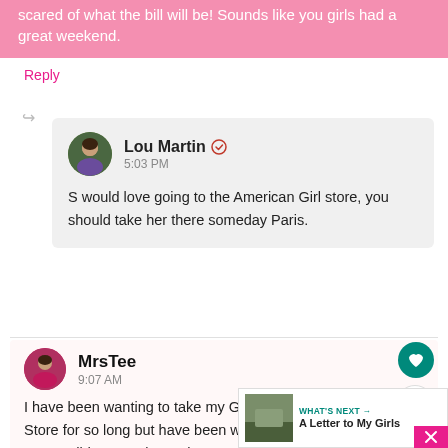scared of what the bill will be! Sounds like you girls had a great weekend.
Reply
Lou Martin 5:03 PM
S would love going to the American Girl store, you should take her there someday Paris.
MrsTee 9:07 AM
I have been wanting to take my Girlies to an American Girl Store for so long but have been waiting until they are the right ages. I didn't even know there was one like this outside of NYC, I may need to plan a little
WHAT'S NEXT → A Letter to My Girls